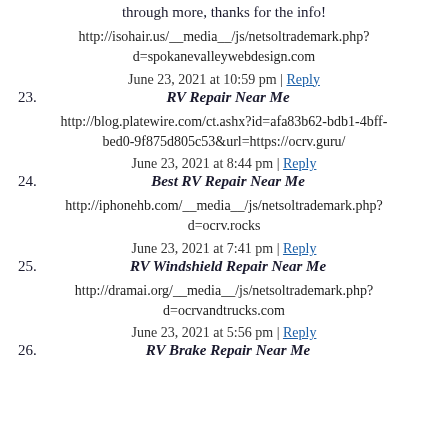through more, thanks for the info!
http://isohair.us/__media__/js/netsoltrademark.php?d=spokanevalleywebdesign.com
June 23, 2021 at 10:59 pm | Reply
23. RV Repair Near Me
http://blog.platewire.com/ct.ashx?id=afa83b62-bdb1-4bff-bed0-9f875d805c53&url=https://ocrv.guru/
June 23, 2021 at 8:44 pm | Reply
24. Best RV Repair Near Me
http://iphonehb.com/__media__/js/netsoltrademark.php?d=ocrv.rocks
June 23, 2021 at 7:41 pm | Reply
25. RV Windshield Repair Near Me
http://dramai.org/__media__/js/netsoltrademark.php?d=ocrvandtrucks.com
June 23, 2021 at 5:56 pm | Reply
26. RV Brake Repair Near Me